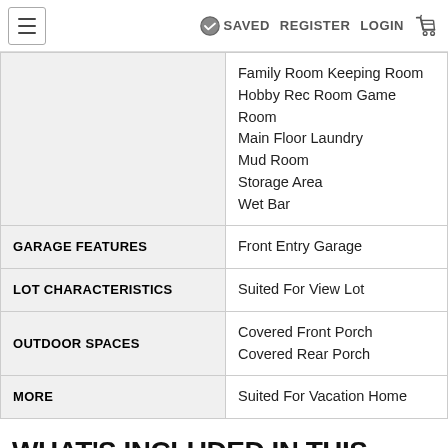≡   SAVED  REGISTER  LOGIN  🛒
|  | Family Room Keeping Room
Hobby Rec Room Game Room
Main Floor Laundry
Mud Room
Storage Area
Wet Bar |
| GARAGE FEATURES | Front Entry Garage |
| LOT CHARACTERISTICS | Suited For View Lot |
| OUTDOOR SPACES | Covered Front Porch
Covered Rear Porch |
| MORE | Suited For Vacation Home |
WHAT'S INCLUDED IN THIS PLAN SET
See a sample plan set